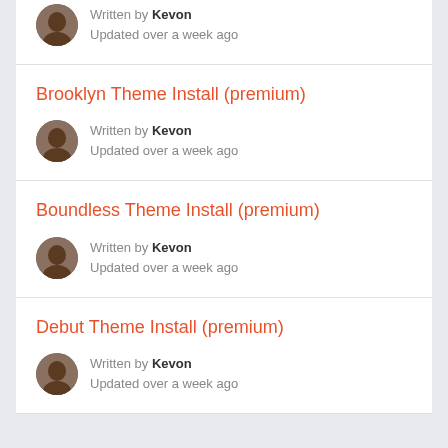Written by Kevon
Updated over a week ago
Brooklyn Theme Install (premium)
Written by Kevon
Updated over a week ago
Boundless Theme Install (premium)
Written by Kevon
Updated over a week ago
Debut Theme Install (premium)
Written by Kevon
Updated over a week ago